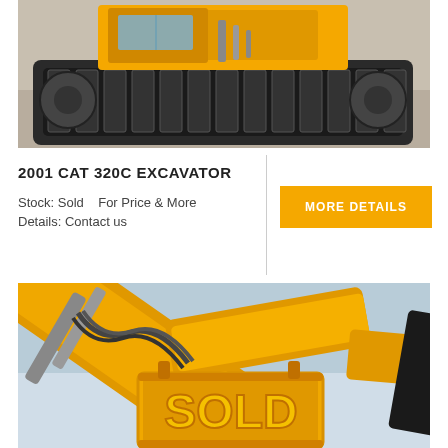[Figure (photo): Close-up photo of a CAT 320C excavator tracks and undercarriage on a construction/demolition site with rubble and concrete debris on the ground.]
2001 CAT 320C EXCAVATOR
Stock: Sold   For Price & More Details: Contact us
[Figure (other): Button labeled MORE DETAILS with an amber/yellow background and white text.]
[Figure (photo): Close-up photo of a yellow Komatsu excavator arm/boom with a large SOLD sign hanging on it, sky in background.]